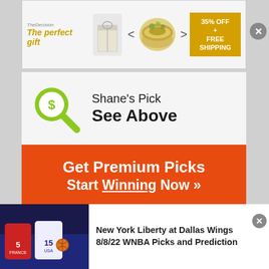[Figure (screenshot): Advertisement banner: 'The perfect gift' with gift box images, arrows, a food bowl, and '35% OFF + FREE SHIPPING' promo box]
[Figure (logo): Green magnifying glass icon with dollar sign]
Shane's Pick
See Above
Get Premium Picks
Start Winning Now »
The pick in this article is the opinion of the writer, not a PickDawgz site consensus.
[Figure (photo): Basketball players in action - France (#5) and USA (#15) players during a WNBA game]
New York Liberty at Dallas Wings 8/8/22 WNBA Picks and Prediction